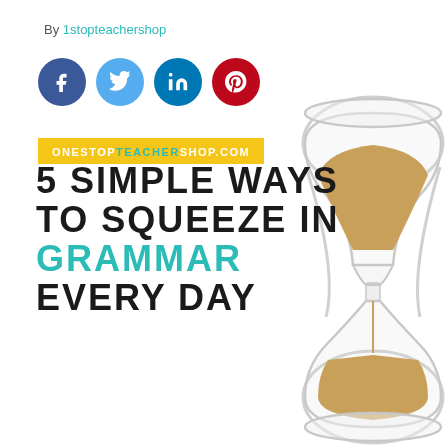By 1stopteachershop
[Figure (other): Four social media icon circles: Facebook (blue), Twitter (light blue), LinkedIn (dark blue), Pinterest (red)]
ONESTOPTEACHERSHOP.COM
5 SIMPLE WAYS TO SQUEEZE IN GRAMMAR EVERY DAY
[Figure (photo): An hourglass with golden sand, shown on white background, partially on the right side of the page]